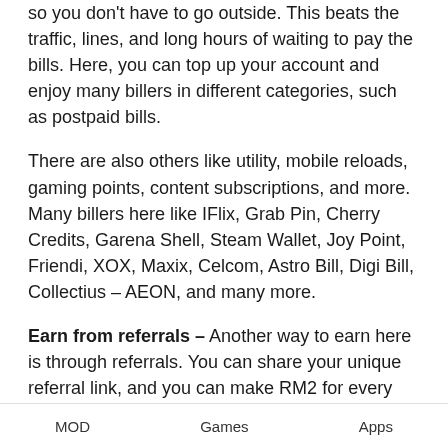so you don't have to go outside. This beats the traffic, lines, and long hours of waiting to pay the bills. Here, you can top up your account and enjoy many billers in different categories, such as postpaid bills.
There are also others like utility, mobile reloads, gaming points, content subscriptions, and more. Many billers here like IFlix, Grab Pin, Cherry Credits, Garena Shell, Steam Wallet, Joy Point, Friendi, XOX, Maxix, Celcom, Astro Bill, Digi Bill, Collectius – AEON, and many more.
Earn from referrals – Another way to earn here is through referrals. You can share your unique referral link, and you can make RM2 for every account activation. This means that you can invite your friends, family, and other people so you can earn
MOD   Games   Apps